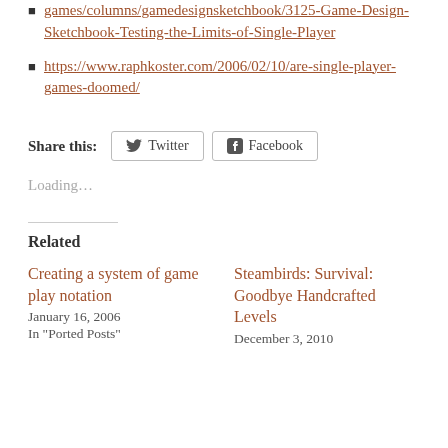https://www.gamedeveloper.com/design/game-design-sketchbook/3125-Game-Design-Sketchbook-Testing-the-Limits-of-Single-Player
https://www.raphkoster.com/2006/02/10/are-single-player-games-doomed/
Share this: Twitter Facebook
Loading...
Related
Creating a system of game play notation
January 16, 2006
In "Ported Posts"
Steambirds: Survival: Goodbye Handcrafted Levels
December 3, 2010